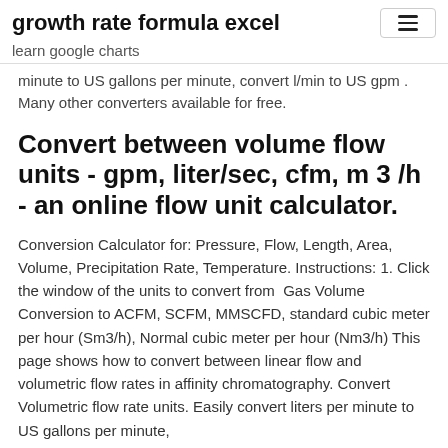growth rate formula excel
learn google charts
minute to US gallons per minute, convert l/min to US gpm . Many other converters available for free.
Convert between volume flow units - gpm, liter/sec, cfm, m 3 /h - an online flow unit calculator.
Conversion Calculator for: Pressure, Flow, Length, Area, Volume, Precipitation Rate, Temperature. Instructions: 1. Click the window of the units to convert from  Gas Volume Conversion to ACFM, SCFM, MMSCFD, standard cubic meter per hour (Sm3/h), Normal cubic meter per hour (Nm3/h) This page shows how to convert between linear flow and volumetric flow rates in affinity chromatography. Convert Volumetric flow rate units. Easily convert liters per minute to US gallons per minute,